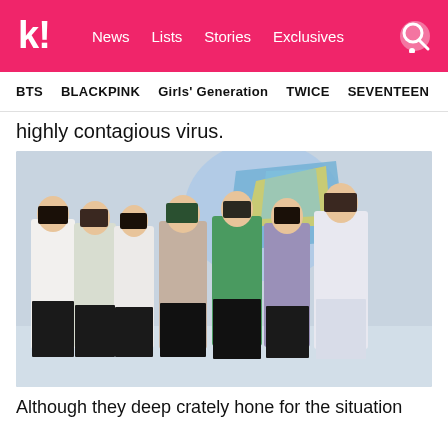k! News  Lists  Stories  Exclusives
BTS   BLACKPINK   Girls' Generation   TWICE   SEVENTEEN
highly contagious virus.
[Figure (photo): BTS group photo with all 7 members posed together against a light blue background. Members wear light-colored outfits including white, mint, taupe/beige, green, and purple.]
Although they deep crately hone for the situation